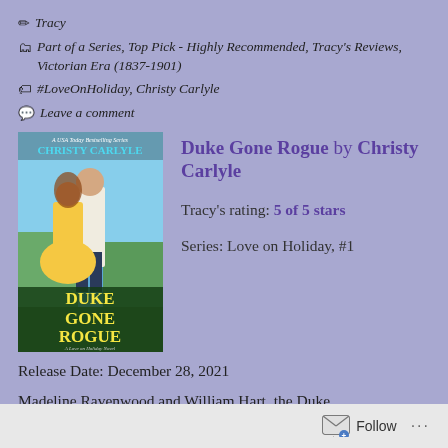✏ Tracy
🗂 Part of a Series, Top Pick - Highly Recommended, Tracy's Reviews, Victorian Era (1837-1901)
🏷 #LoveOnHoliday, Christy Carlyle
💬 Leave a comment
[Figure (illustration): Book cover of Duke Gone Rogue by Christy Carlyle showing a couple in a romantic embrace against a coastal background, with yellow dress and the title text at the bottom]
Duke Gone Rogue by Christy Carlyle
Tracy's rating: 5 of 5 stars
Series: Love on Holiday, #1
Release Date: December 28, 2021
Madeline Ravenwood and William Hart, the Duke
Follow ...